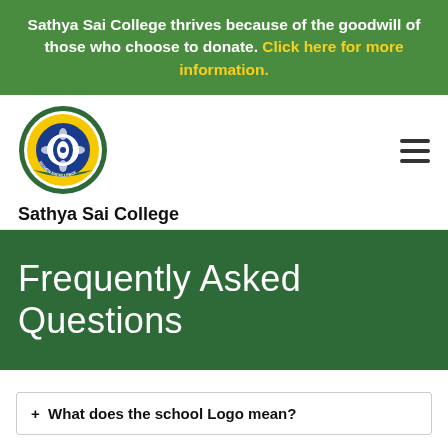Sathya Sai College thrives because of the goodwill of those who choose to donate. Click here for more information.
[Figure (logo): Sathya Sai College circular crest/logo with green and yellow design, featuring Australian Women Excellence text]
Sathya Sai College
Frequently Asked Questions
+ What does the school Logo mean?